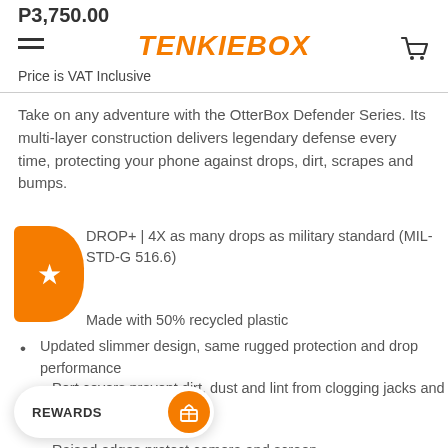P3,750.00 — TENKIEBOX — Cart icon
Price is VAT Inclusive
Take on any adventure with the OtterBox Defender Series. Its multi-layer construction delivers legendary defense every time, protecting your phone against drops, dirt, scrapes and bumps.
DROP+ | 4X as many drops as military standard (MIL-STD-G 516.6)
Made with 50% recycled plastic
Updated slimmer design, same rugged protection and drop performance
Port covers prevent dirt, dust and lint from clogging jacks and ports
Screenless design provides flawless touch response
Holster works as a belt clip and a hands-free kickstand
Raised edges protect camera and screen